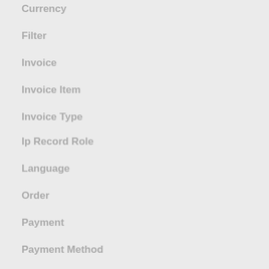Currency
Filter
Invoice
Invoice Item
Invoice Type
Ip Record Role
Language
Order
Payment
Payment Method
Payment Provider